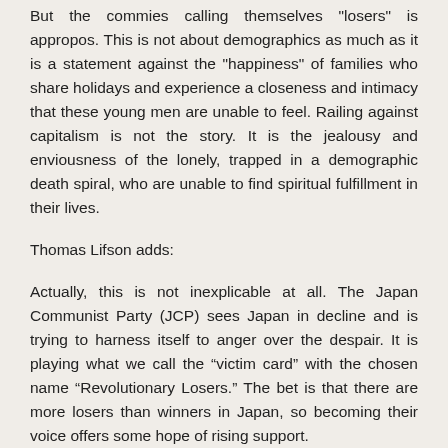But the commies calling themselves "losers" is appropos. This is not about demographics as much as it is a statement against the "happiness" of families who share holidays and experience a closeness and intimacy that these young men are unable to feel. Railing against capitalism is not the story. It is the jealousy and enviousness of the lonely, trapped in a demographic death spiral, who are unable to find spiritual fulfillment in their lives.
Thomas Lifson adds:
Actually, this is not inexplicable at all. The Japan Communist Party (JCP) sees Japan in decline and is trying to harness itself to anger over the despair. It is playing what we call the “victim card” with the chosen name “Revolutionary Losers.” The bet is that there are more losers than winners in Japan, so becoming their voice offers some hope of rising support.
Christmas in Japan is almost entirely a